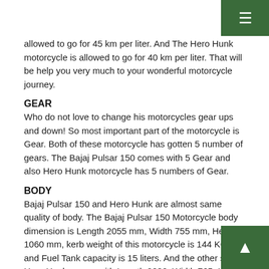≡
allowed to go for 45 km per liter. And The Hero Hunk motorcycle is allowed to go for 40 km per liter. That will be help you very much to your wonderful motorcycle journey.
GEAR
Who do not love to change his motorcycles gear ups and down! So most important part of the motorcycle is Gear. Both of these motorcycle has gotten 5 number of gears. The Bajaj Pulsar 150 comes with 5 Gear and also Hero Hunk motorcycle has 5 numbers of Gear.
BODY
Bajaj Pulsar 150 and Hero Hunk are almost same quality of body. The Bajaj Pulsar 150 Motorcycle body dimension is Length 2055 mm, Width 755 mm, Height 1060 mm, kerb weight of this motorcycle is 144 KG, and Fuel Tank capacity is 15 liters. And the other side Hero Hunk comes with Length 2080, Width 765, Height 1095. Kerb weight of this motorcycle 146 KG and Fuel Tank capacity is 12.40 liter.
BRAKES and TYRES